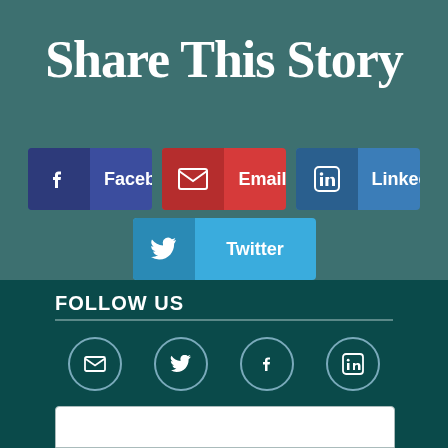Share This Story
[Figure (infographic): Social share buttons: Facebook (dark blue), Email (red), Linkedin (blue), Twitter (light blue)]
FOLLOW US
[Figure (infographic): Four social media icon circles: Email, Twitter, Facebook, Linkedin]